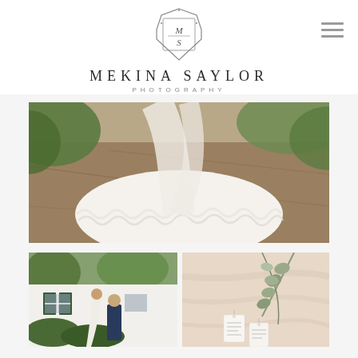[Figure (logo): Mekina Saylor Photography logo crest with M and S initials in an octagonal/shield frame with floral decorations]
MEKINA SAYLOR
PHOTOGRAPHY
[Figure (photo): Close-up of a white lace wedding dress train/veil spread out on a stone or brick outdoor path, surrounded by greenery]
[Figure (photo): Bride and groom standing in front of a white building with dark green shutters and windows, surrounded by lush green bushes]
[Figure (photo): Close-up of eucalyptus greenery and small white gift tags with script text, on a neutral/blush fabric background]